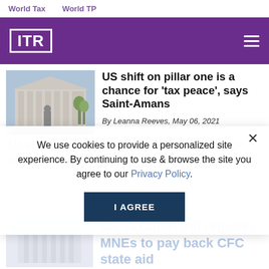World Tax   World TP
[Figure (logo): ITR logo - white box with ITR text on purple background]
[Figure (photo): Photo of a neoclassical government building with columns and a statue in front]
US shift on pillar one is a chance for 'tax peace', says Saint-Amans
By Leanna Reeves, May 06, 2021
Uber faces higher tax bills after losing UK case
By Anjona Haines, February 19, 2021
We use cookies to provide a personalized site experience. By continuing to use & browse the site you agree to our Privacy Policy.
I AGREE
UK Taxation Bill requires MNEs to pay back CFC state aid
[Figure (photo): Faded/blurred photo of a building]